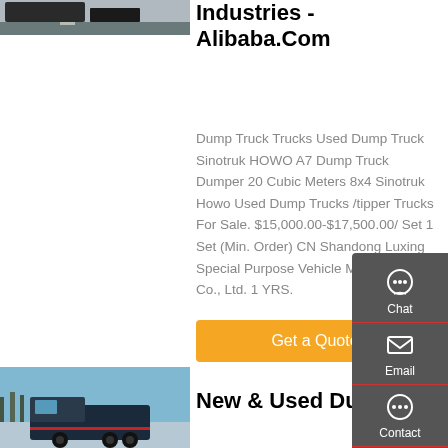[Figure (photo): Partial top view of a truck on a road]
Industries - Alibaba.Com
Dump Truck Trucks Used Dump Truck Sinotruk HOWO A7 Dump Truck Dumper 20 Cubic Meters 8x4 Sinotruk Howo Used Dump Trucks /tipper Trucks For Sale. $15,000.00-$17,500.00/ Set 1 Set (Min. Order) CN Shandong Luxing Special Purpose Vehicle Manufacturing Co., Ltd. 1 YRS.
[Figure (other): Orange Get a Quote button]
[Figure (photo): Front view of a dump truck against blue sky]
New & Used Dump